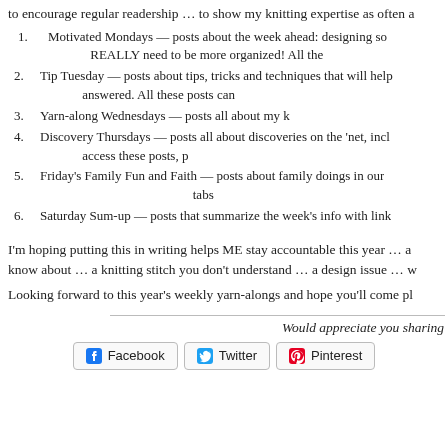to encourage regular readership … to show my knitting expertise as often a
1. Motivated Mondays — posts about the week ahead: designing so REALLY need to be more organized! All the
2. Tip Tuesday — posts about tips, tricks and techniques that will help answered. All these posts can
3. Yarn-along Wednesdays — posts all about my k
4. Discovery Thursdays — posts all about discoveries on the 'net, incl access these posts, p
5. Friday's Family Fun and Faith — posts about family doings in our tabs
6. Saturday Sum-up — posts that summarize the week's info with link
I'm hoping putting this in writing helps ME stay accountable this year … a know about … a knitting stitch you don't understand … a design issue … w
Looking forward to this year's weekly yarn-alongs and hope you'll come pl
Would appreciate you sharing
Facebook   Twitter   Pinterest